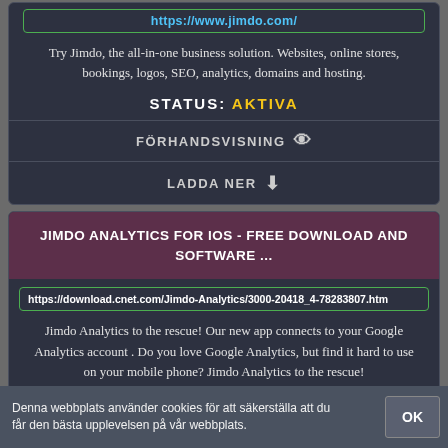https://www.jimdo.com/
Try Jimdo, the all-in-one business solution. Websites, online stores, bookings, logos, SEO, analytics, domains and hosting.
STATUS: AKTIVA
FÖRHANDSVISNING
LADDA NER
JIMDO ANALYTICS FOR IOS - FREE DOWNLOAD AND SOFTWARE ...
https://download.cnet.com/Jimdo-Analytics/3000-20418_4-78283807.htm
Jimdo Analytics to the rescue! Our new app connects to your Google Analytics account . Do you love Google Analytics, but find it hard to use on your mobile phone? Jimdo Analytics to the rescue!
Denna webbplats använder cookies för att säkerställa att du får den bästa upplevelsen på vår webbplats.